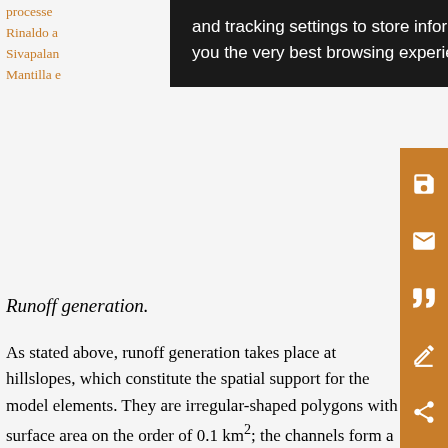processes ... Rinaldo a... Sivapalan... Mantilla e...
[Figure (screenshot): Black tooltip overlay showing cookie/tracking settings text: 'and tracking settings to store information that help give you the very best browsing experience.']
[Figure (other): Orange sidebar with icons: save, email, quote, annotation/edit, share]
Runoff generation.
As stated above, runoff generation takes place at hillslopes, which constitute the spatial support for the model elements. They are irregular-shaped polygons with surface area on the order of 0.1 km2; the channels form a fractal tree-like river network structure (urban areas being the exception). The soil properties, land use and cover, and near-surface soil saturation determine the split between runoff and infiltration immediately following a rainfall event. We model these processes as mass conservation equations. By keeping track of the amount of water moving from the land surface to the top soil to